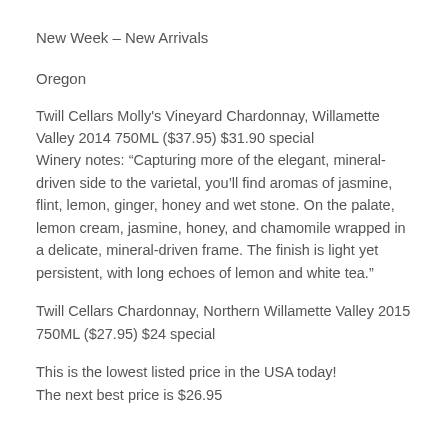New Week – New Arrivals
Oregon
Twill Cellars Molly's Vineyard Chardonnay, Willamette Valley 2014 750ML ($37.95) $31.90 special
Winery notes: “Capturing more of the elegant, mineral-driven side to the varietal, you’ll find aromas of jasmine, flint, lemon, ginger, honey and wet stone. On the palate, lemon cream, jasmine, honey, and chamomile wrapped in a delicate, mineral-driven frame. The finish is light yet persistent, with long echoes of lemon and white tea.”
Twill Cellars Chardonnay, Northern Willamette Valley 2015 750ML ($27.95) $24 special
This is the lowest listed price in the USA today!
The next best price is $26.95